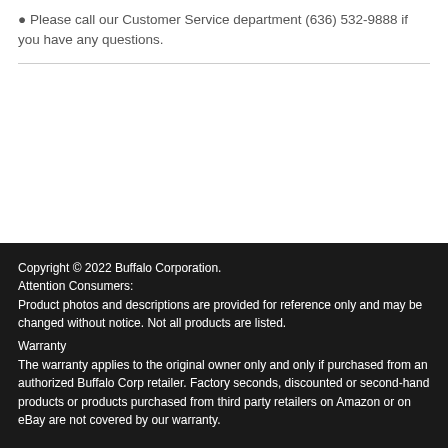Please call our Customer Service department (636) 532-9888 if you have any questions.
Copyright © 2022 Buffalo Corporation.
Attention Consumers:
Product photos and descriptions are provided for reference only and may be changed without notice. Not all products are listed.
Warranty
The warranty applies to the original owner only and only if purchased from an authorized Buffalo Corp retailer. Factory seconds, discounted or second-hand products or products purchased from third party retailers on Amazon or on eBay are not covered by our warranty.